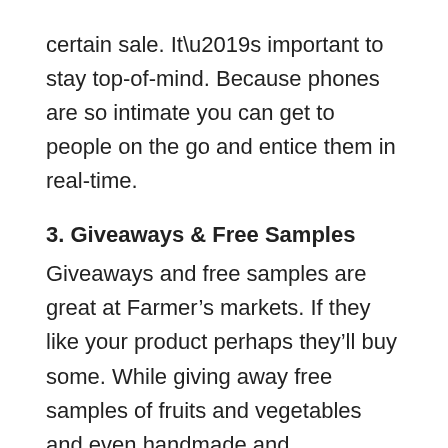certain sale. It’s important to stay top-of-mind. Because phones are so intimate you can get to people on the go and entice them in real-time.
3. Giveaways & Free Samples
Giveaways and free samples are great at Farmer’s markets. If they like your product perhaps they’ll buy some. While giving away free samples of fruits and vegetables and even handmade and homemade goods works to get people buying right then and there, a different strategy could be used for those who are on the fence and not sure if